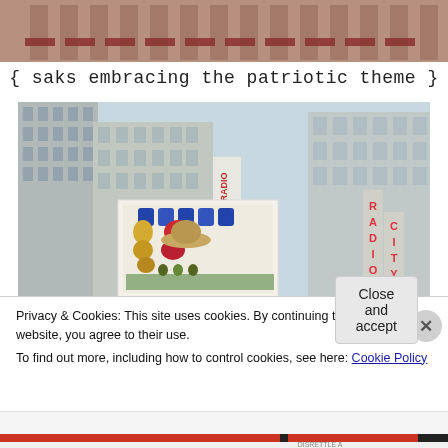[Figure (photo): Top portion of a vintage/sepia-toned photo of a classic urban building facade with ornate architecture]
{ saks embracing the patriotic theme }
[Figure (photo): Photo of Radio City Music Hall building in New York City with tall skyscrapers, taken from a low angle. A greeting card or postcard with illustrated market scene is held up in the foreground.]
Privacy & Cookies: This site uses cookies. By continuing to use this website, you agree to their use.
To find out more, including how to control cookies, see here: Cookie Policy
Close and accept